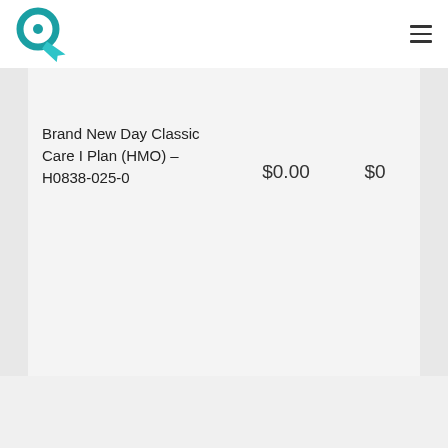Logo and navigation menu
Brand New Day Classic Care I Plan (HMO) – H0838-025-0  $0.00  $0